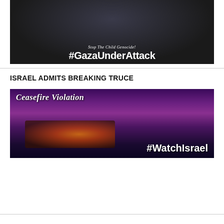[Figure (photo): Photo of a child lying down with text overlay 'Stop The Child Genocide! #GazaUnderAttack']
ISRAEL ADMITS BREAKING TRUCE
[Figure (photo): Image of a military ship firing with text overlay 'Ceasefire Violation #WatchIsrael']